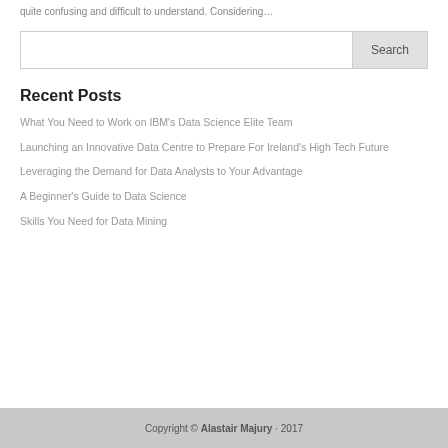quite confusing and difficult to understand. Considering…
Search
Recent Posts
What You Need to Work on IBM's Data Science Elite Team
Launching an Innovative Data Centre to Prepare For Ireland's High Tech Future
Leveraging the Demand for Data Analysts to Your Advantage
A Beginner's Guide to Data Science
Skills You Need for Data Mining
Copyright © Alastair Majury · 2017